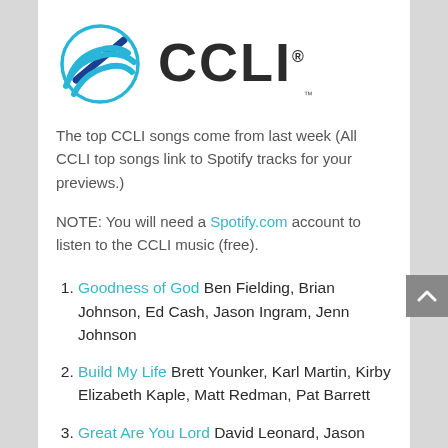[Figure (logo): CCLI logo with blue wave/spiral graphic icon on left and bold CCLI text with registered trademark symbol on right]
The top CCLI songs come from last week (All CCLI top songs link to Spotify tracks for your previews.)
NOTE: You will need a Spotify.com account to listen to the CCLI music (free).
Goodness of God Ben Fielding, Brian Johnson, Ed Cash, Jason Ingram, Jenn Johnson
Build My Life Brett Younker, Karl Martin, Kirby Elizabeth Kaple, Matt Redman, Pat Barrett
Great Are You Lord David Leonard, Jason Ingram, Leslie Jordan